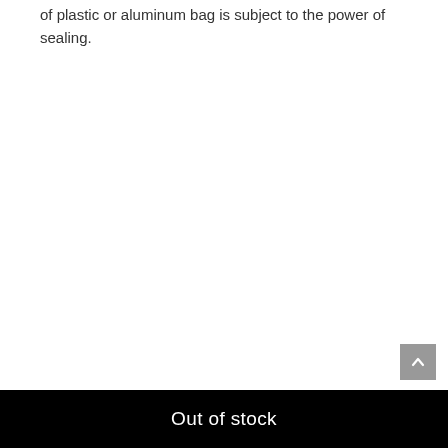of plastic or aluminum bag is subject to the power of sealing.
Out of stock